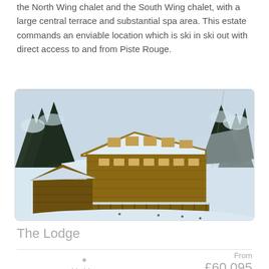the North Wing chalet and the South Wing chalet, with a large central terrace and substantial spa area. This estate commands an enviable location which is ski in ski out with direct access to and from Piste Rouge.
[Figure (photo): Aerial view of a large snow-covered chalet estate (The Lodge) in a snowy alpine setting with surrounding snow-covered trees and ski slopes.]
The Lodge
Verbier
From £60,095 Weekly Low